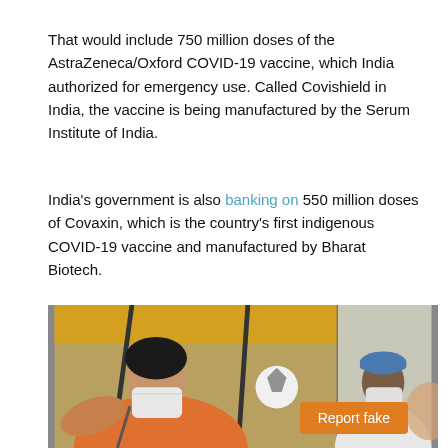That would include 750 million doses of the AstraZeneca/Oxford COVID-19 vaccine, which India authorized for emergency use. Called Covishield in India, the vaccine is being manufactured by the Serum Institute of India.
India's government is also banking on 550 million doses of Covaxin, which is the country's first indigenous COVID-19 vaccine and manufactured by Bharat Biotech.
[Figure (photo): A woman wearing an orange top and a white face mask appears to be receiving a vaccine or medical treatment under a yellow canopy tent. On the right side, a healthcare worker in a white coat and blue protective cap is also visible attending to a patient.]
Report fake